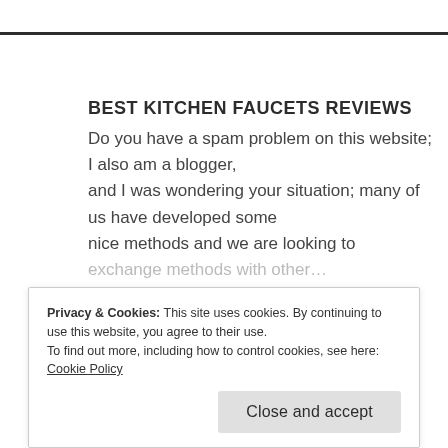BEST KITCHEN FAUCETS REVIEWS
Do you have a spam problem on this website; I also am a blogger, and I was wondering your situation; many of us have developed some nice methods and we are looking to exchange methods with other…
Privacy & Cookies: This site uses cookies. By continuing to use this website, you agree to their use.
To find out more, including how to control cookies, see here: Cookie Policy
Close and accept